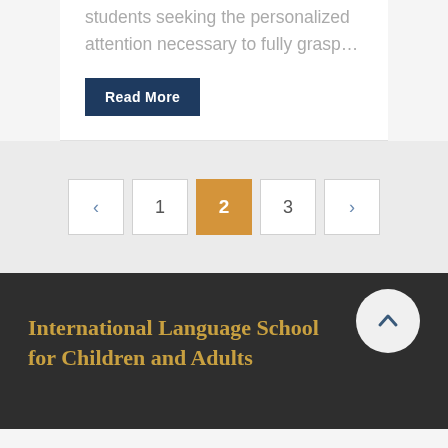students seeking the personalized attention necessary to fully grasp…
Read More
< 1 2 3 >
International Language School for Children and Adults